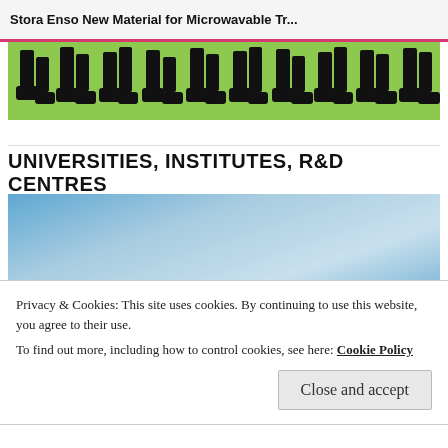Stora Enso New Material for Microwavable Tr...
[Figure (illustration): Silhouettes of marching feet on a green background, showing multiple pairs of legs walking in a row]
UNIVERSITIES, INSTITUTES, R&D CENTRES
[Figure (photo): Blue gradient sky scene with silhouettes of people at the bottom]
Privacy & Cookies: This site uses cookies. By continuing to use this website, you agree to their use.
To find out more, including how to control cookies, see here: Cookie Policy
Close and accept